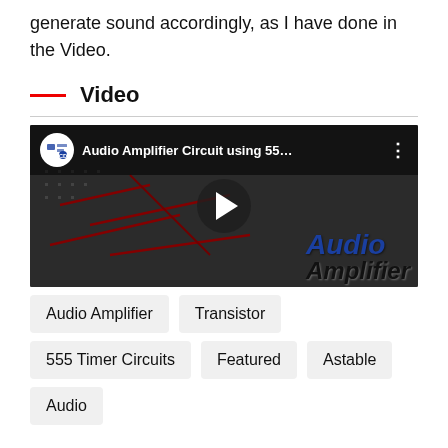generate sound accordingly, as I have done in the Video.
Video
[Figure (screenshot): YouTube video thumbnail showing 'Audio Amplifier Circuit using 55...' from Circuit Digest channel, with a play button overlay and text 'Audio Amplifier' on the right side.]
Audio Amplifier
Transistor
555 Timer Circuits
Featured
Astable
Audio